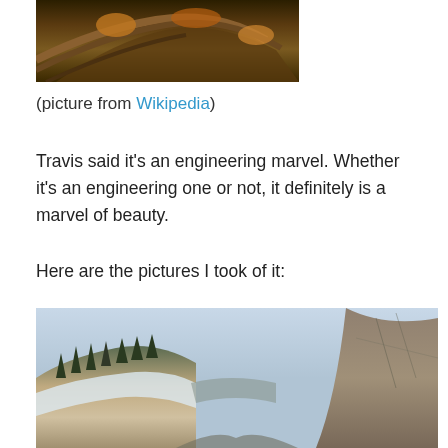[Figure (photo): Partial top view of a curved wooden structure or bridge, cropped at top of page]
(picture from Wikipedia)
Travis said it’s an engineering marvel. Whether it’s an engineering one or not, it definitely is a marvel of beauty.
Here are the pictures I took of it:
[Figure (photo): A canyon road scene with snow-covered rocky cliffs on both sides, pale blue sky above, taken from a moving vehicle]